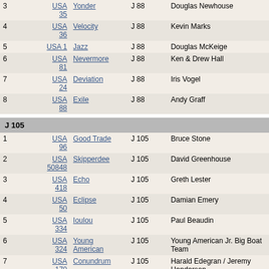| # | Sail | Boat | Class | Skipper |
| --- | --- | --- | --- | --- |
| 3 | USA 35 | Yonder | J 88 | Douglas Newhouse |
| 4 | USA 36 | Velocity | J 88 | Kevin Marks |
| 5 | USA 1 | Jazz | J 88 | Douglas McKeige |
| 6 | USA 81 | Nevermore | J 88 | Ken & Drew Hall |
| 7 | USA 24 | Deviation | J 88 | Iris Vogel |
| 8 | USA 88 | Exile | J 88 | Andy Graff |
J 105
| # | Sail | Boat | Class | Skipper |
| --- | --- | --- | --- | --- |
| 1 | USA 96 | Good Trade | J 105 | Bruce Stone |
| 2 | USA 50848 | Skipperdee | J 105 | David Greenhouse |
| 3 | USA 418 | Echo | J 105 | Greth Lester |
| 4 | USA 50 | Eclipse | J 105 | Damian Emery |
| 5 | USA 334 | Ioulou | J 105 | Paul Beaudin |
| 6 | USA 324 | Young American | J 105 | Young American Jr. Big Boat Team |
| 7 | USA 170 | Conundrum | J 105 | Harald Edegran / Jeremy Henderson |
| 8 | USA 64 | Revelation | J 105 | George and Alex Wilbanks |